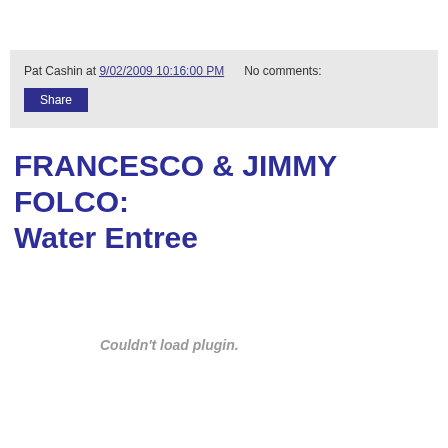Pat Cashin at 9/02/2009 10:16:00 PM   No comments:
Share
FRANCESCO & JIMMY FOLCO: Water Entree
Couldn't load plugin.